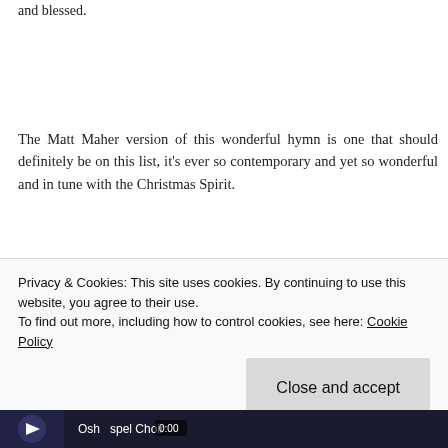and blessed.
The Matt Maher version of this wonderful hymn is one that should definitely be on this list, it's ever so contemporary and yet so wonderful and in tune with the Christmas Spirit.
I particularly love the Forte Femme version of O Come, O Come Immanuel because it's pure acapella and it incorporates my favorite christmas hymn: Carol Of The Bells.
Privacy & Cookies: This site uses cookies. By continuing to use this website, you agree to their use.
To find out more, including how to control cookies, see here: Cookie Policy
Close and accept
[Figure (screenshot): Thumbnail of a video showing a choir performance, partially visible at the bottom, with text 'Osh spel Choir' and a time stamp '0:00']